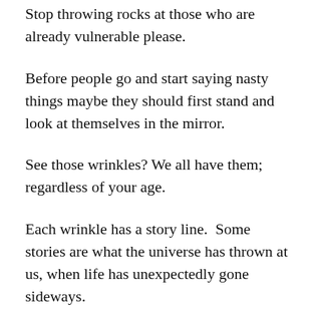Stop throwing rocks at those who are already vulnerable please.
Before people go and start saying nasty things maybe they should first stand and look at themselves in the mirror.
See those wrinkles? We all have them; regardless of your age.
Each wrinkle has a story line.  Some stories are what the universe has thrown at us, when life has unexpectedly gone sideways.
More of those wrinkles are a result of the stories we ourselves made up. Our very own blunders and errors in